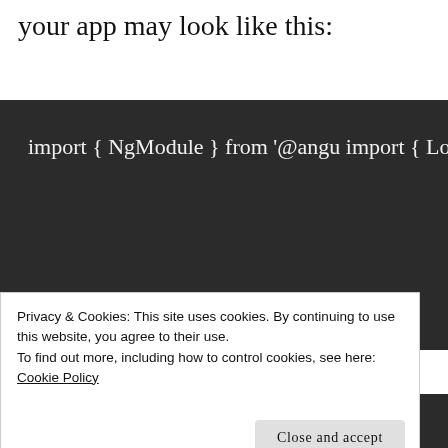your app may look like this:
[Figure (screenshot): Dark-themed code block showing Angular import statements: import { NgModule } from '@angu..., import { LocationStrategy, HashLo..., import { FormsModule, ReactiveF..., import { BrowserModule } from '@..., import { RouterModule } from '@a..., // other import statements are om...]
Privacy & Cookies: This site uses cookies. By continuing to use this website, you agree to their use.
To find out more, including how to control cookies, see here:
Cookie Policy
Close and accept
[Figure (screenshot): Bottom portion of dark code block showing 'BrowserModule,']